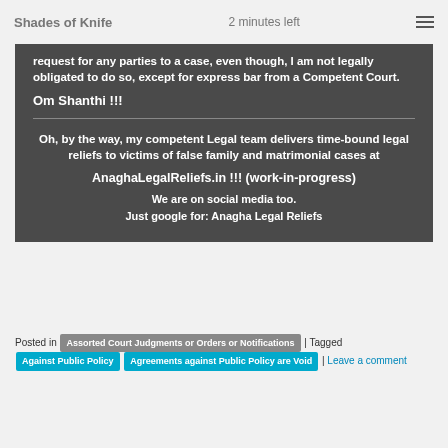Shades of Knife  2 minutes left
request for any parties to a case, even though, I am not legally obligated to do so, except for express bar from a Competent Court.
Om Shanthi !!!
Oh, by the way, my competent Legal team delivers time-bound legal reliefs to victims of false family and matrimonial cases at

AnaghaLegalReliefs.in !!! (work-in-progress)

We are on social media too.
Just google for: Anagha Legal Reliefs
Posted in Assorted Court Judgments or Orders or Notifications | Tagged Against Public Policy | Agreements against Public Policy are Void | Leave a comment